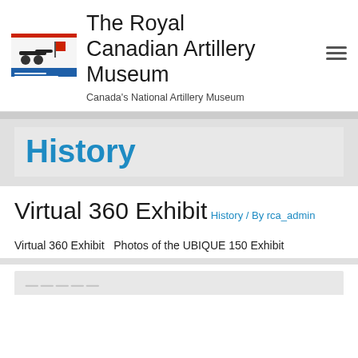The Royal Canadian Artillery Museum
Canada's National Artillery Museum
History
Virtual 360 Exhibit
History / By rca_admin
Virtual 360 Exhibit   Photos of the UBIQUE 150 Exhibit